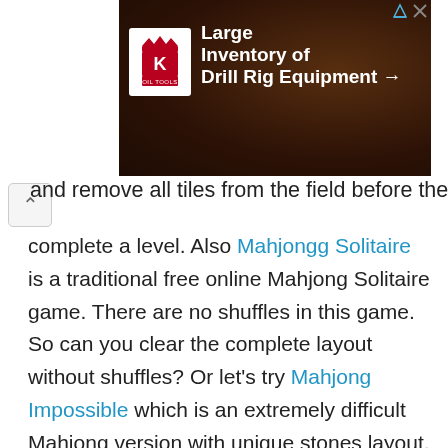[Figure (screenshot): Advertisement banner for King Oil Tools showing 'Large Inventory of Drill Rig Equipment' with King logo and drill equipment photo in background. Has play and close control buttons in top right.]
and remove all tiles from the field before the time is up to complete a level. Also Mahjongg Solitaire is a traditional free online Mahjong Solitaire game. There are no shuffles in this game. So can you clear the complete layout without shuffles? Or let's try Mahjong Impossible which is an extremely difficult Mahjong version with unique stones layout. You have to consider every move in order to optimize your strategy to reach the highest score possible or on a very rare occasion even remove all stones!
It's your turn at the tiles. Are you ready? We have collected some of the best free online Mahjong Games to play now without download on Round Games. These games include